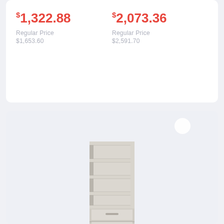$1,322.88
Regular Price
$1,653.60
$2,073.36
Regular Price
$2,591.70
[Figure (photo): Theodore Alexander Rowley Bookcase — tall white/grey bookcase with open shelves on top and two drawers at the bottom]
Theodore Alexander Rowley Bookcase
$3,726.96
Regular Price
$4,658.70